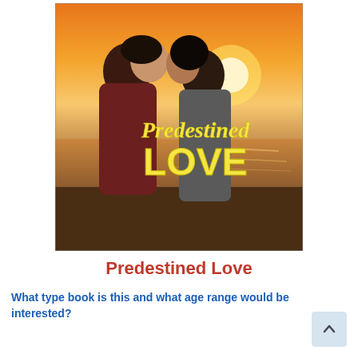[Figure (photo): Book cover of 'Predestined Love' showing a couple about to kiss on a beach at sunset, with the title displayed in yellow script and bold text over the image.]
Predestined Love
What type book is this and what age range would be interested?